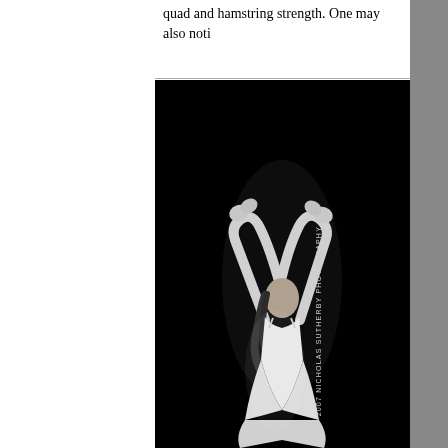quad and hamstring strength. One may also noti
[Figure (photo): Black and white photograph of a female dancer in a white dress with arms raised above her head against a dark background. Watermark reads: © 2007 NICHOLAS SUTHERBY PHOTOGRAPHY]